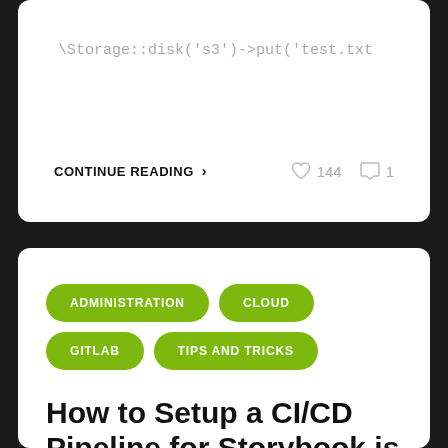\Storage::disk('s3')->put('test.txt
CONTINUE READING  >   144   1
ADMINISTRATION
CLOUD
GITLAB
TIPS AND TRICKS
How to Setup a CI/CD Pipeline for Storybook is